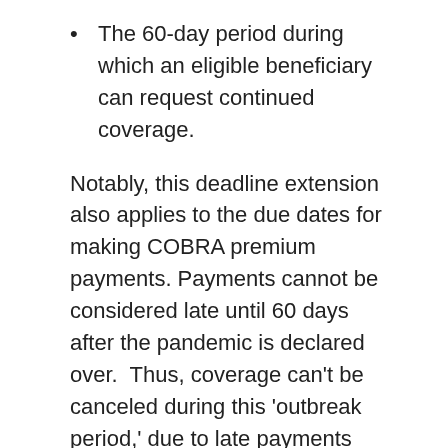The 60-day period during which an eligible beneficiary can request continued coverage.
Notably, this deadline extension also applies to the due dates for making COBRA premium payments. Payments cannot be considered late until 60 days after the pandemic is declared over.  Thus, coverage can't be canceled during this 'outbreak period,' due to late payments (per the CARES Act).
When the national emergency is declared over, employers should add to their HR planning